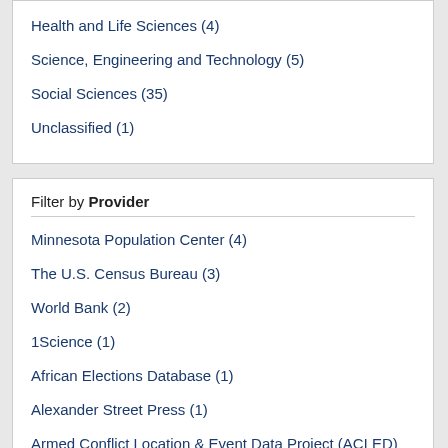Health and Life Sciences (4)
Science, Engineering and Technology (5)
Social Sciences (35)
Unclassified (1)
Filter by Provider
Minnesota Population Center (4)
The U.S. Census Bureau (3)
World Bank (2)
1Science (1)
African Elections Database (1)
Alexander Street Press (1)
Armed Conflict Location & Event Data Project (ACLED) (1)